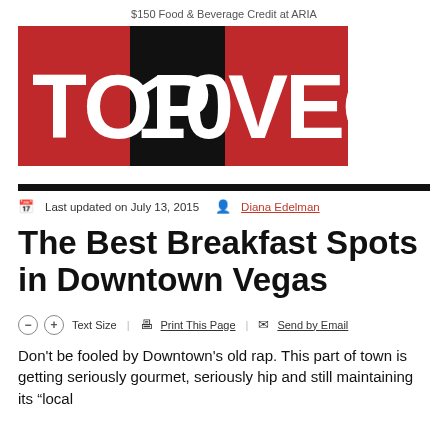$150 Food & Beverage Credit at ARIA
[Figure (logo): Top 10 Vegas logo with red background and black center block, white bold text reading TOP 10 VEGAS]
Last updated on July 13, 2015   Diana Edelman
The Best Breakfast Spots in Downtown Vegas
- + Text Size | Print This Page | Send by Email
Don't be fooled by Downtown's old rap. This part of town is getting seriously gourmet, seriously hip and still maintaining its "local